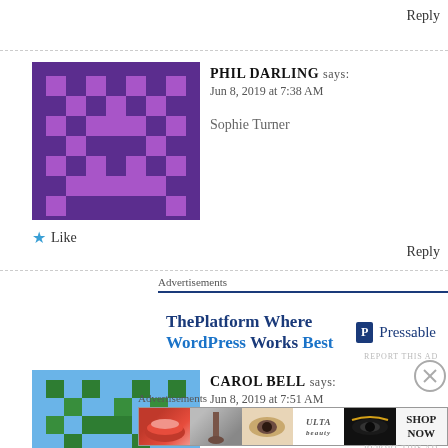Reply
[Figure (illustration): Pixel art avatar with purple background and darker purple pixel pattern, resembling an abstract face/figure]
PHIL DARLING says:
Jun 8, 2019 at 7:38 AM

Sophie Turner
★ Like
Reply
Advertisements
[Figure (infographic): Advertisement for Pressable: 'ThePlatform Where WordPress Works Best' with Pressable logo]
REPORT THIS AD
[Figure (illustration): Pixel art avatar with green and dark green pixel pattern on light blue background]
CAROL BELL says:
Jun 8, 2019 at 7:51 AM

Sophie Turner
Advertisements
[Figure (photo): Banner advertisement showing beauty/makeup imagery and ULTA beauty branding with SHOP NOW call to action]